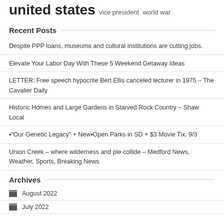united states  vice president  world war
Recent Posts
Despite PPP loans, museums and cultural institutions are cutting jobs.
Elevate Your Labor Day With These 5 Weekend Getaway Ideas
LETTER: Free speech hypocrite Bert Ellis canceled lecturer in 1975 – The Cavalier Daily
Historic Homes and Large Gardens in Starved Rock Country – Shaw Local
■“Our Genetic Legacy” + New■Open Parks in SD + $3 Movie Tix, 9/3
Union Creek – where wilderness and pie collide – Medford News, Weather, Sports, Breaking News
Archives
August 2022
July 2022